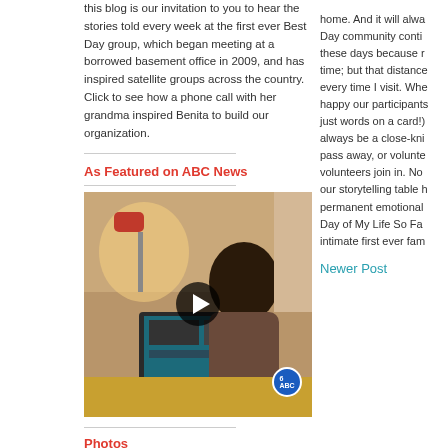this blog is our invitation to you to hear the stories told every week at the first ever Best Day group, which began meeting at a borrowed basement office in 2009, and has inspired satellite groups across the country. Click to see how a phone call with her grandma inspired Benita to build our organization.
As Featured on ABC News
[Figure (photo): A person sitting at a laptop computer with a desk lamp, video thumbnail with play button overlay and ABC 6 logo badge]
Photos
home. And it will alwa Day community conti these days because r time; but that distance every time I visit. Whe happy our participants just words on a card!) always be a close-kni pass away, or volunte volunteers join in. No our storytelling table h permanent emotional Day of My Life So Fa intimate first ever fam
Newer Post